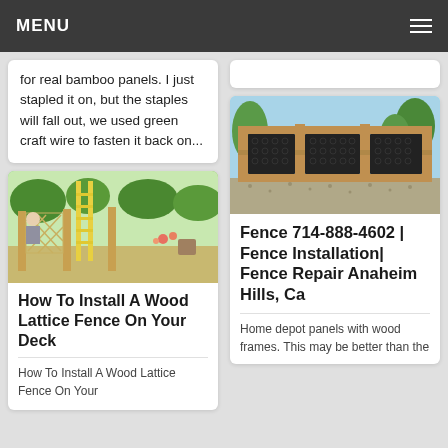MENU
for real bamboo panels. I just stapled it on, but the staples will fall out, we used green craft wire to fasten it back on...
[Figure (photo): Person installing a wood lattice fence on a deck, with a yellow ladder visible and garden in background]
How To Install A Wood Lattice Fence On Your Deck
How To Install A Wood Lattice Fence On Your
[Figure (photo): Ornamental fence with decorative metal panels in wooden frame, installed in backyard with gravel and trees]
Fence 714-888-4602 | Fence Installation| Fence Repair Anaheim Hills, Ca
Home depot panels with wood frames. This may be better than the